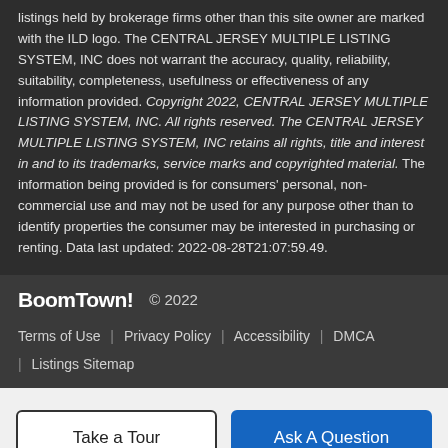listings held by brokerage firms other than this site owner are marked with the ILD logo. The CENTRAL JERSEY MULTIPLE LISTING SYSTEM, INC does not warrant the accuracy, quality, reliability, suitability, completeness, usefulness or effectiveness of any information provided. Copyright 2022, CENTRAL JERSEY MULTIPLE LISTING SYSTEM, INC. All rights reserved. The CENTRAL JERSEY MULTIPLE LISTING SYSTEM, INC retains all rights, title and interest in and to its trademarks, service marks and copyrighted material. The information being provided is for consumers' personal, non-commercial use and may not be used for any purpose other than to identify properties the consumer may be interested in purchasing or renting. Data last updated: 2022-08-28T21:07:59.49.
BoomTown! © 2022  Terms of Use | Privacy Policy | Accessibility | DMCA | Listings Sitemap
Take a Tour   Ask A Question